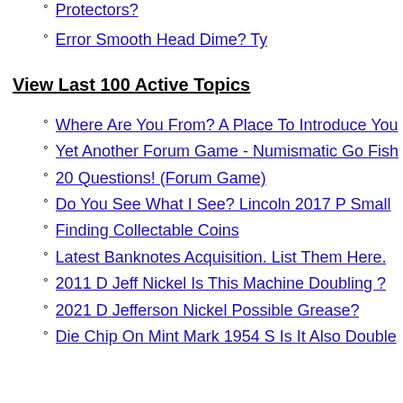Protectors?
Error Smooth Head Dime? Ty
View Last 100 Active Topics
Where Are You From? A Place To Introduce You
Yet Another Forum Game - Numismatic Go Fish
20 Questions! (Forum Game)
Do You See What I See? Lincoln 2017 P Small
Finding Collectable Coins
Latest Banknotes Acquisition. List Them Here.
2011 D Jeff Nickel Is This Machine Doubling ?
2021 D Jefferson Nickel Possible Grease?
Die Chip On Mint Mark 1954 S Is It Also Double